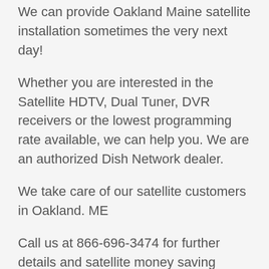We can provide Oakland Maine satellite installation sometimes the very next day!
Whether you are interested in the Satellite HDTV, Dual Tuner, DVR receivers or the lowest programming rate available, we can help you. We are an authorized Dish Network dealer.
We take care of our satellite customers in Oakland. ME
Call us at 866-696-3474 for further details and satellite money saving suggestions. We also have knowledge of High Speed satellite Internet Options, DSL, and ways to save money with your phone service. We can explain all package options for our Oakland customers and set up auto payments for you.
Whether you are thinking of switching we can help you make an educated choice on your satellite decision.